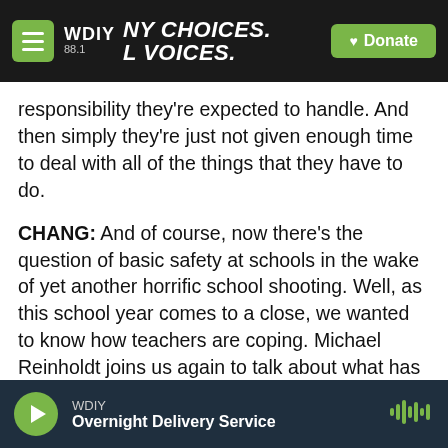WDIY 88.1 | MANY CHOICES. LOCAL VOICES. | Donate
responsibility they're expected to handle. And then simply they're just not given enough time to deal with all of the things that they have to do.
CHANG: And of course, now there's the question of basic safety at schools in the wake of yet another horrific school shooting. Well, as this school year comes to a close, we wanted to know how teachers are coping. Michael Reinholdt joins us again to talk about what has changed, if anything, these past few months. Also joining him are Suzen Polk-Hoffses, a pre-K teacher in Milbridge, Maine, and Tiki Boyea-Logan, a fourth-grade teacher in
WDIY | Overnight Delivery Service